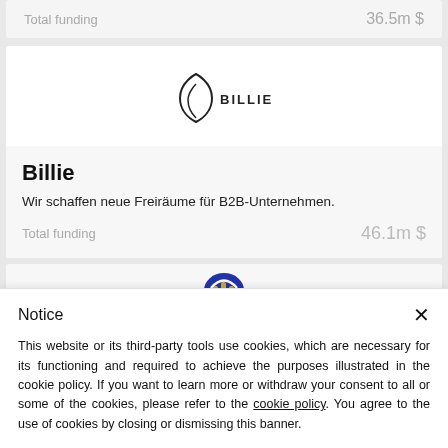| Total funding |  |
| --- | --- |
| Total funding | 36.5m $ |
[Figure (logo): Billie company logo - stylized leaf/shield outline with text BILLIE]
Billie
Wir schaffen neue Freiräume für B2B-Unternehmen.
Total funding                                    46.1m $
[Figure (logo): Blue circular arch logo for next company card]
Notice
This website or its third-party tools use cookies, which are necessary for its functioning and required to achieve the purposes illustrated in the cookie policy. If you want to learn more or withdraw your consent to all or some of the cookies, please refer to the cookie policy. You agree to the use of cookies by closing or dismissing this banner.